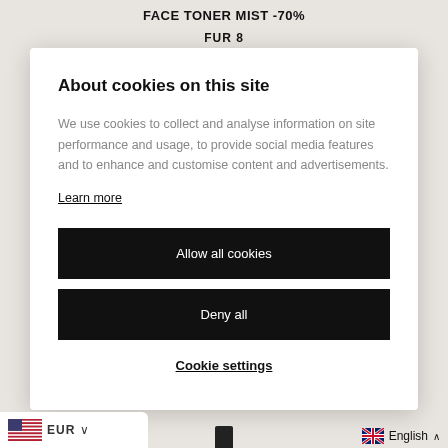FACE TONER MIST -70%
FUR 8
About cookies on this site
We use cookies to collect and analyse information on site performance and usage, to provide social media features and to enhance and customise content and advertisements.
Learn more
Allow all cookies
Deny all
Cookie settings
EUR ∨
🇬🇧 English ∧